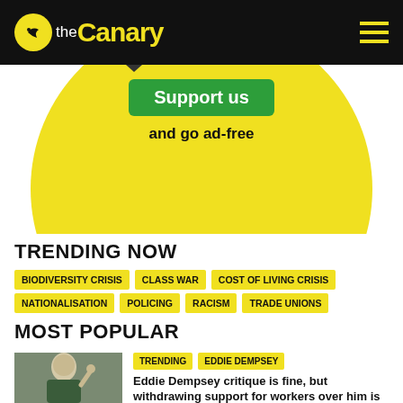theCanary
[Figure (illustration): Yellow circle with green Support us button and 'and go ad-free' text, with dark chevrons partially visible]
TRENDING NOW
BIODIVERSITY CRISIS
CLASS WAR
COST OF LIVING CRISIS
NATIONALISATION
POLICING
RACISM
TRADE UNIONS
MOST POPULAR
[Figure (photo): Photo of a man speaking, gesturing with hand raised]
TRENDING   EDDIE DEMPSEY
Eddie Dempsey critique is fine, but withdrawing support for workers over him is telling on yourself